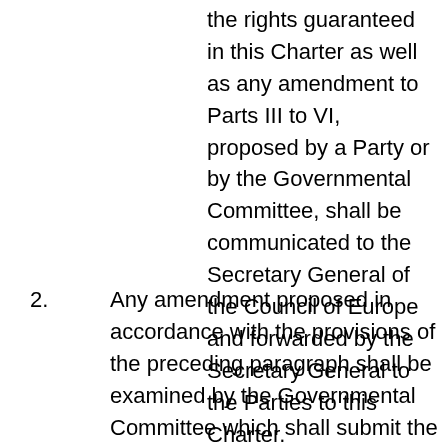the rights guaranteed in this Charter as well as any amendment to Parts III to VI, proposed by a Party or by the Governmental Committee, shall be communicated to the Secretary General of the Council of Europe and forwarded by the Secretary General to the Parties to this Charter.
2. Any amendment proposed in accordance with the provisions of the preceding paragraph shall be examined by the Governmental Committee which shall submit the text adopted to the Committee of Ministers for approval after consultation with the Parliamentary Assembly. After its approval by the